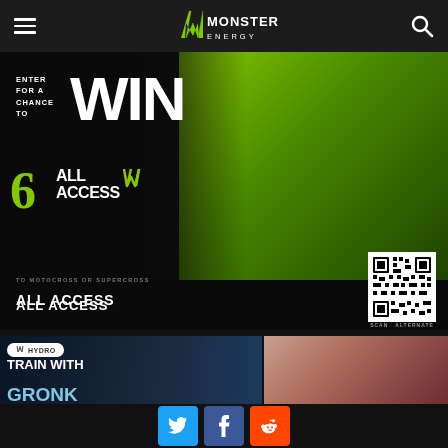Monster Energy — Navigation bar with hamburger menu, Monster Energy logo, and search icon
[Figure (screenshot): Monster Energy 'ALL ACCESS' promotional banner. Text reads: ENTER FOR A CHANCE TO WIN. ALL ACCESS TO MOTOCROSS OR SUPERCROSS. Features athletes and a QR code with SCAN ALTERNATE text.]
ALL ACCESS
[Figure (photo): TRAIN WITH GRONK — ENTER TO WIN. Monster Hydro promotion with grand prizes. Shows athlete lifting weights.]
ENTER TO WIN
[Figure (photo): MONSTER GIRLS — photo of female monster energy athlete at outdoor event.]
MONSTER GIRLS
[Figure (photo): Partial photo of athletes/fighters at bottom left]
[Figure (photo): Partial photo at bottom right]
Social share buttons: Twitter, Facebook, Reddit